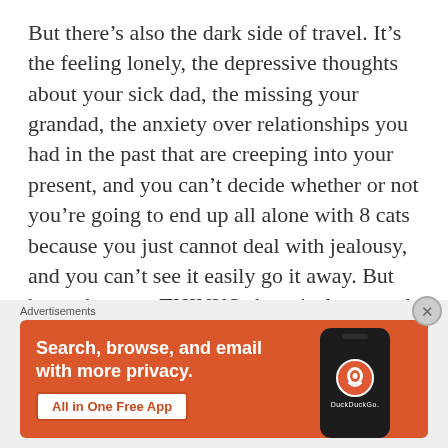But there's also the dark side of travel. It's the feeling lonely, the depressive thoughts about your sick dad, the missing your grandad, the anxiety over relationships you had in the past that are creeping into your present, and you can't decide whether or not you're going to end up all alone with 8 cats because you just cannot deal with jealousy, and you can't see it easily go it away. But hey, who even THINKS about jealousy and sadness this seriously eh? Who just
[Figure (other): DuckDuckGo advertisement banner. Orange background with white bold text 'Search, browse, and email with more privacy.' and a white button labeled 'All in One Free App'. On the right side, a dark phone mockup showing the DuckDuckGo logo and brand name.]